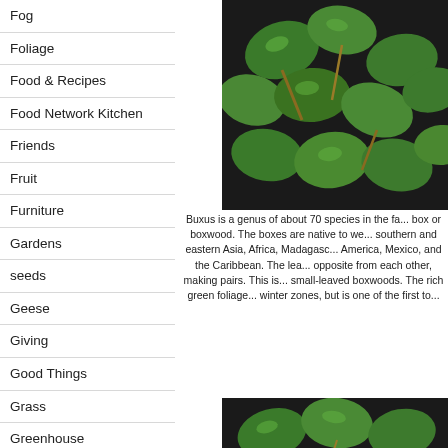Fog
Foliage
Food & Recipes
Food Network Kitchen
Friends
Fruit
Furniture
Gardens
seeds
Geese
Giving
Good Things
Grass
Greenhouse
Guest Blog
Guinea Fowl
[Figure (photo): Close-up photo of Buxus (boxwood) green leaves]
Buxus is a genus of about 70 species in the fa... box or boxwood. The boxes are native to we... southern and eastern Asia, Africa, Madagasc... America, Mexico, and the Caribbean. The lea... opposite from each other, making pairs. This is... small-leaved boxwoods. The rich green foliage... winter zones, but is one of the first to...
[Figure (photo): Close-up photo of Buxus (boxwood) green leaves, second image]